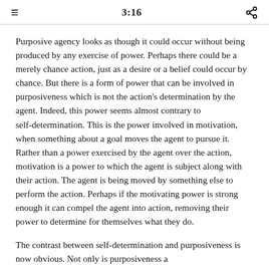3:16
Purposive agency looks as though it could occur without being produced by any exercise of power. Perhaps there could be a merely chance action, just as a desire or a belief could occur by chance. But there is a form of power that can be involved in purposiveness which is not the action's determination by the agent. Indeed, this power seems almost contrary to self-determination. This is the power involved in motivation, when something about a goal moves the agent to pursue it. Rather than a power exercised by the agent over the action, motivation is a power to which the agent is subject along with their action. The agent is being moved by something else to perform the action. Perhaps if the motivating power is strong enough it can compel the agent into action, removing their power to determine for themselves what they do.
The contrast between self-determination and purposiveness is now obvious. Not only is purposiveness a